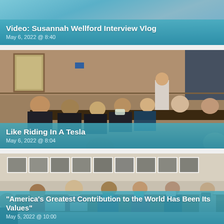[Figure (photo): Video thumbnail showing a woman in front of a blurred background with teal/blue tones]
Video: Susannah Wellford Interview Vlog
May 6, 2022 @ 8:40
[Figure (photo): Photo of students seated in a formal hearing room, with a man standing at the front near a large wooden table]
Like Riding In A Tesla
May 6, 2022 @ 8:04
[Figure (photo): Photo of people seated around a conference table in a meeting room with black and white photos on the wall]
“America’s Greatest Contribution to the World Has Been Its Values”
May 5, 2022 @ 10:00